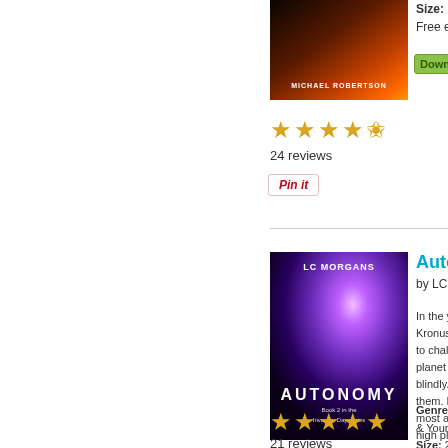[Figure (photo): Book cover for a dark fantasy novel by Michael Robertson, with orange/fire tones]
Size: 272
Free eBoo
Download
[Figure (other): 4.5 star rating display]
24 reviews
Pin it
[Figure (photo): Book cover for Autonomy by LC Morgans, purple cosmic tones with woman holding her head]
Autono
by LC Mor
In the year... Kronus sits... to challenge... planet he's... blindly.And... them. Kyra... most amou... high places
Genre: Fic & Young Ac Size: 218 p Free eBoo
[Figure (other): 5 star rating display]
21 reviews